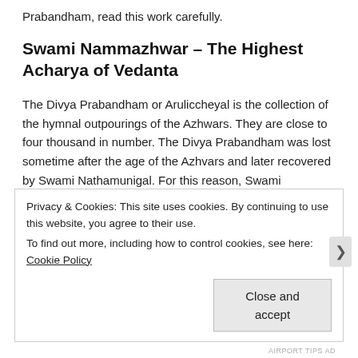Prabandham, read this work carefully.
Swami Nammazhwar – The Highest Acharya of Vedanta
The Divya Prabandham or Aruliccheyal is the collection of the hymnal outpourings of the Azhwars. They are close to four thousand in number. The Divya Prabandham was lost sometime after the age of the Azhvars and later recovered by Swami Nathamunigal. For this reason, Swami Nathamunigal is the foremost of the acharyas after the age of the Azhwars. The events pertaining to Swami
Privacy & Cookies: This site uses cookies. By continuing to use this website, you agree to their use.
To find out more, including how to control cookies, see here: Cookie Policy

Close and accept